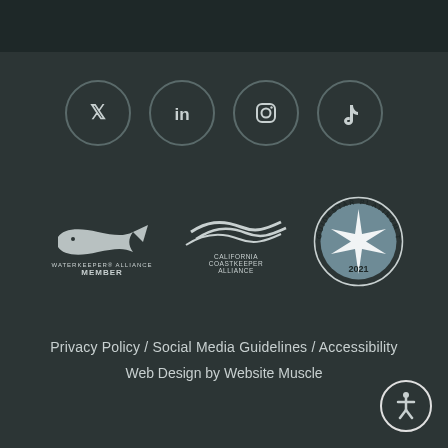[Figure (illustration): Four social media icon circles in a row: Twitter, LinkedIn, Instagram, TikTok]
[Figure (logo): Three logos: Waterkeeper Alliance Member (fish logo), California Coastkeeper Alliance (wave logo), GuideStar Platinum Transparency 2021 (circular badge with star)]
Privacy Policy / Social Media Guidelines / Accessibility
Web Design by Website Muscle
[Figure (illustration): Accessibility icon button (person in circle) in bottom right corner]